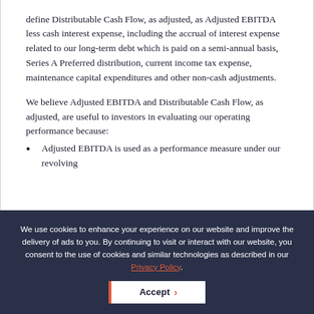define Distributable Cash Flow, as adjusted, as Adjusted EBITDA less cash interest expense, including the accrual of interest expense related to our long-term debt which is paid on a semi-annual basis, Series A Preferred distribution, current income tax expense, maintenance capital expenditures and other non-cash adjustments.
We believe Adjusted EBITDA and Distributable Cash Flow, as adjusted, are useful to investors in evaluating our operating performance because:
Adjusted EBITDA is used as a performance measure under our revolving
We use cookies to enhance your experience on our website and improve the delivery of ads to you. By continuing to visit or interact with our website, you consent to the use of cookies and similar technologies as described in our Privacy Policy.